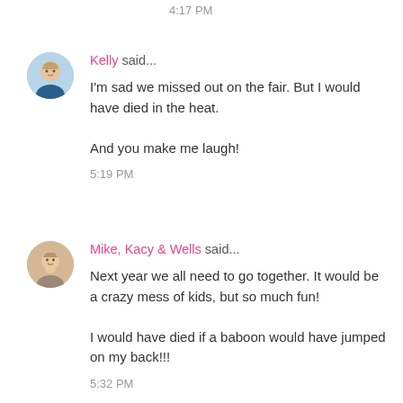4:17 PM
Kelly said...

I'm sad we missed out on the fair. But I would have died in the heat.

And you make me laugh!

5:19 PM
Mike, Kacy & Wells said...

Next year we all need to go together. It would be a crazy mess of kids, but so much fun!

I would have died if a baboon would have jumped on my back!!!

5:32 PM